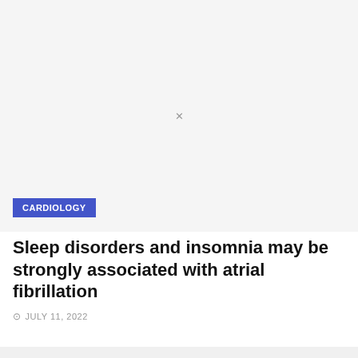[Figure (photo): Light gray placeholder image area with an X mark in the center and a CARDIOLOGY badge in the lower left corner]
Sleep disorders and insomnia may be strongly associated with atrial fibrillation
JULY 11, 2022